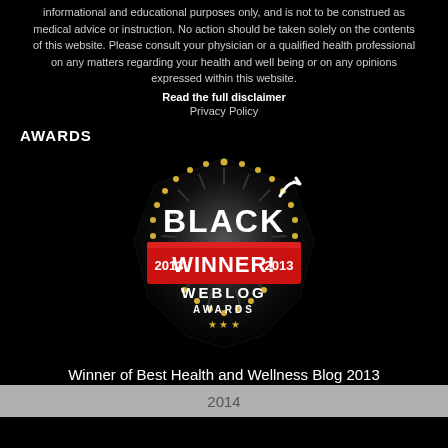informational and educational purposes only, and is not to be construed as medical advice or instruction. No action should be taken solely on the contents of this website. Please consult your physician or a qualified health professional on any matters regarding your health and well being or on any opinions expressed within this website.
Read the full disclaimer
Privacy Policy
AWARDS
[Figure (logo): Black Weblog Awards badge - BLACK WINNER! 2013 WEBLOG AWARDS, with gold star border on dark shield shape and red banner]
Winner of Best Health and Wellness Blog 2013
2014